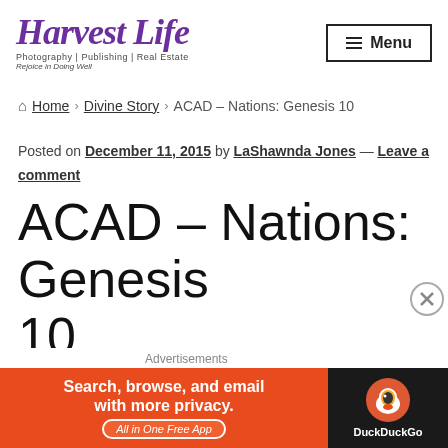[Figure (logo): Harvest Life logo with purple cursive text, subtitle 'Photography | Publishing | Real Estate', tagline 'Rejoice in Doing Well']
≡ Menu
🏠 Home › Divine Story › ACAD – Nations: Genesis 10
Posted on December 11, 2015 by LaShawnda Jones — Leave a comment
ACAD – Nations: Genesis 10
Advertisements
[Figure (screenshot): DuckDuckGo advertisement banner: orange left panel with text 'Search, browse, and email with more privacy. All in One Free App', dark right panel with DuckDuckGo logo and text 'DuckDuckGo']